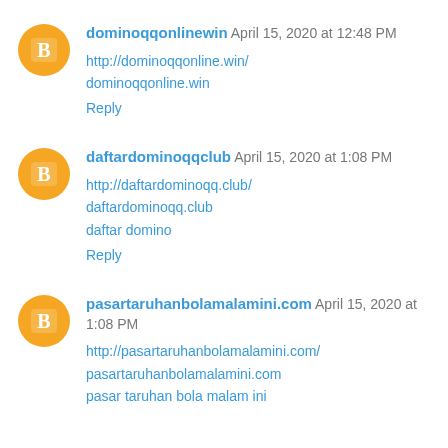dominoqqonlinewin April 15, 2020 at 12:48 PM
http://dominoqqonline.win/
dominoqqonline.win
Reply
daftardominoqqclub April 15, 2020 at 1:08 PM
http://daftardominoqq.club/
daftardominoqq.club
daftar domino
Reply
pasartaruhanbolamalamini.com April 15, 2020 at 1:08 PM
http://pasartaruhanbolamalamini.com/
pasartaruhanbolamalamini.com
pasar taruhan bola malam ini